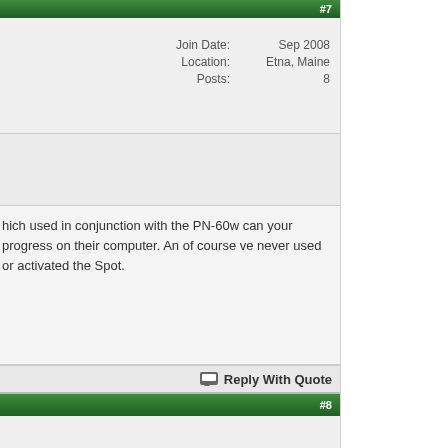#7
Join Date: Sep 2008
Location: Etna, Maine
Posts: 8
hich used in conjunction with the PN-60w can your progress on their computer. An of course ve never used or activated the Spot.
Reply With Quote
#8
Join Date: Sep 2008
Location: Etna, Maine
Posts: 8
has been sold.